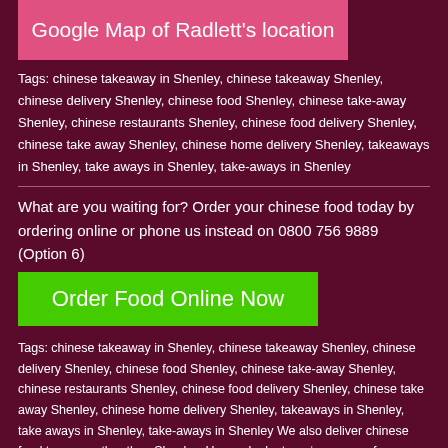[Figure (map): Google Map of Radlett's location]
Tags: chinese takeaway in Shenley, chinese takeaway Shenley, chinese delivery Shenley, chinese food Shenley, chinese take-away Shenley, chinese restaurants Shenley, chinese food delivery Shenley, chinese take away Shenley, chinese home delivery Shenley, takeaways in Shenley, take aways in Shenley, take-aways in Shenley
What are you waiting for? Order your chinese food today by ordering online or phone us instead on 0800 756 9889 (Option 6)
[Figure (other): Green button: Order Food Online Now]
Tags: chinese takeaway in Shenley, chinese takeaway Shenley, chinese delivery Shenley, chinese food Shenley, chinese take-away Shenley, chinese restaurants Shenley, chinese food delivery Shenley, chinese take away Shenley, chinese home delivery Shenley, takeaways in Shenley, take aways in Shenley, take-aways in Shenley We also deliver chinese food to areas other than Shenley. Have a look at our homepage for our latest chinese takeaway delivery areas and postcodes.